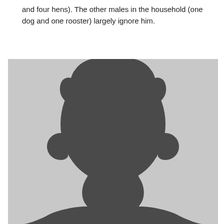and four hens). The other males in the household (one dog and one rooster) largely ignore him.
[Figure (illustration): A generic silhouette of a bald human head and shoulders on a light grey background, representing an anonymous or placeholder person profile image.]